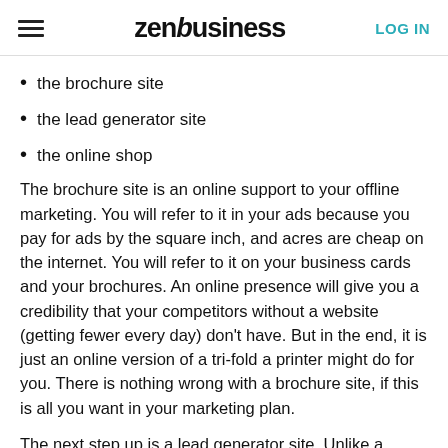zenbusiness | LOG IN
the brochure site
the lead generator site
the online shop
The brochure site is an online support to your offline marketing. You will refer to it in your ads because you pay for ads by the square inch, and acres are cheap on the internet. You will refer to it on your business cards and your brochures. An online presence will give you a credibility that your competitors without a website (getting fewer every day) don't have. But in the end, it is just an online version of a tri-fold a printer might do for you. There is nothing wrong with a brochure site, if this is all you want in your marketing plan.
The next step up is a lead generator site. Unlike a brochure site, you want it to generate business on its own. You want people to find your site while browsing on the internet, and having seen your site, feel compelled to call